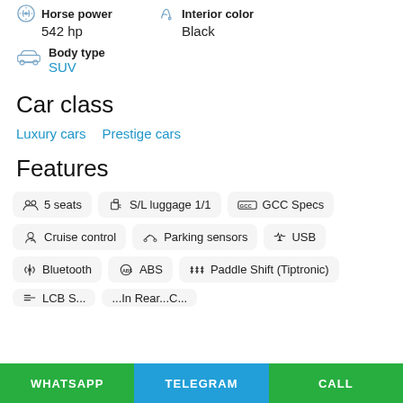Horse power
542 hp
Interior color
Black
Body type
SUV
Car class
Luxury cars
Prestige cars
Features
5 seats
S/L luggage 1/1
GCC Specs
Cruise control
Parking sensors
USB
Bluetooth
ABS
Paddle Shift (Tiptronic)